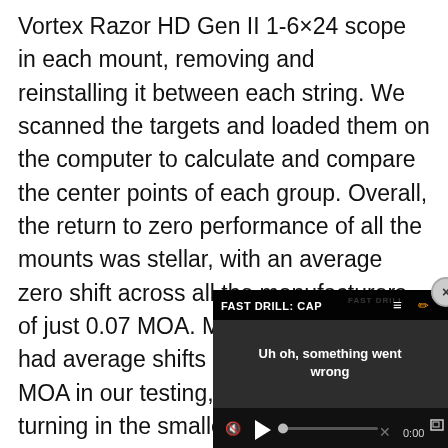Vortex Razor HD Gen II 1-6×24 scope in each mount, removing and reinstalling it between each string. We scanned the targets and loaded them on the computer to calculate and compare the center points of each group. Overall, the return to zero performance of all the mounts was stellar, with an average zero shift across all the manufacturers of just 0.07 MOA. Most of the mounts had average shifts in the hundredths of MOA in our testing, with the Bobro turning in the smallest at 0.016 MOA and the Burris the largest at 0.22 MOA. We would hardly call our exercise un... hesitate to rank the mount... results, so the overall take... that the scope mounts all ...
[Figure (screenshot): Video player overlay showing error state: 'FAST DRILL: CAP...' title bar with menu and pencil icons, error message 'Uh oh, something went wrong', muted speaker icon, playback controls with play button, scrubber, X mark, 0:00 timestamp, and fullscreen button. Close (x) button in top-right corner.]